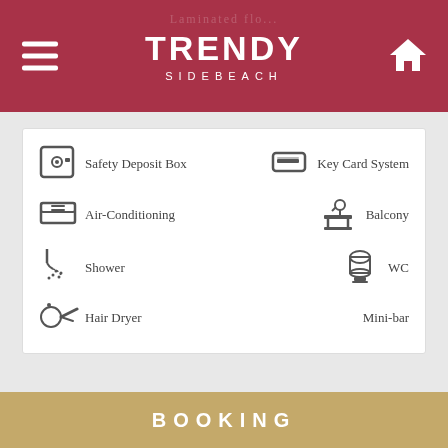TRENDY SIDEBEACH
Safety Deposit Box
Key Card System
Air-Conditioning
Balcony
Shower
WC
Hair Dryer
Mini-bar
STANDARD ROOM – SIDE BUILDING
[Figure (photo): Room photo partially visible at bottom]
BOOKING